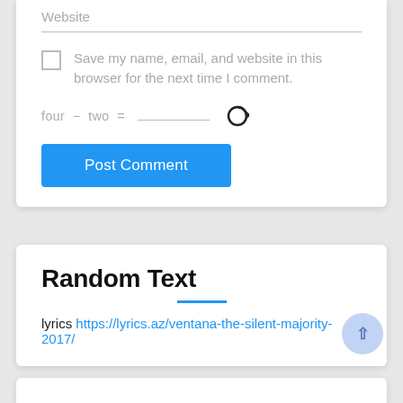Website
Save my name, email, and website in this browser for the next time I comment.
four − two =
Post Comment
Random Text
lyrics https://lyrics.az/ventana-the-silent-majority-2017/